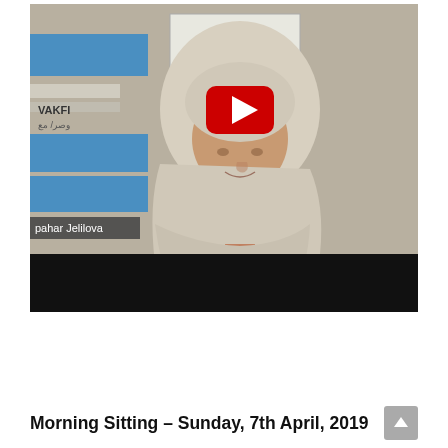[Figure (screenshot): YouTube video thumbnail showing a woman wearing a white hijab and dark clothing, seated in front of a backdrop with blue stripes and text 'VAKFI'. A YouTube play button (red rectangle with white triangle) appears in the center. A name label 'pahar Jelilova' appears at the bottom left. The lower portion shows a black bar.]
Morning Sitting – Sunday, 7th April, 2019